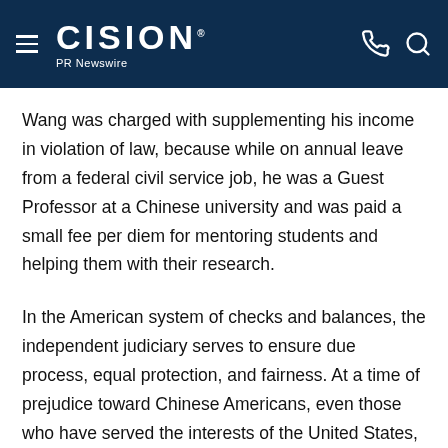CISION PR Newswire
Wang was charged with supplementing his income in violation of law, because while on annual leave from a federal civil service job, he was a Guest Professor at a Chinese university and was paid a small fee per diem for mentoring students and helping them with their research.
In the American system of checks and balances, the independent judiciary serves to ensure due process, equal protection, and fairness. At a time of prejudice toward Chinese Americans, even those who have served the interests of the United States, officials such as Judge Altonaga are crucial to protect our principles. Like Wen Ho Lee, Sherry Chen, and